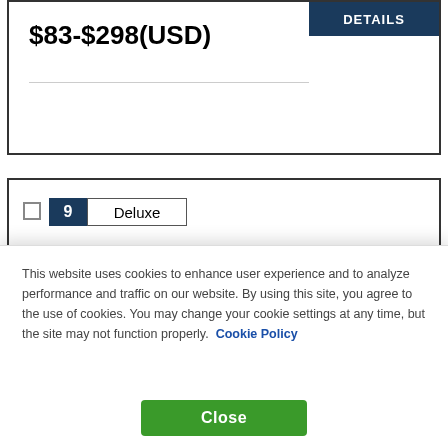$83-$298(USD)
DETAILS
9  Deluxe
[Figure (photo): Aerial night view of Bangkok city skyline with illuminated skyscrapers and highways]
The Athenee Hotel, a Luxury Collection
61 Wireless Road (Witthayu)
Lumphini Pathumwan, Bangkok
This website uses cookies to enhance user experience and to analyze performance and traffic on our website. By using this site, you agree to the use of cookies. You may change your cookie settings at any time, but the site may not function properly. Cookie Policy
Close